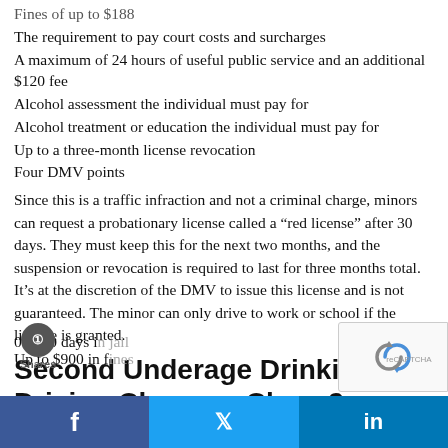Fines of up to $188
The requirement to pay court costs and surcharges
A maximum of 24 hours of useful public service and an additional $120 fee
Alcohol assessment the individual must pay for
Alcohol treatment or education the individual must pay for
Up to a three-month license revocation
Four DMV points
Since this is a traffic infraction and not a criminal charge, minors can request a probationary license called a "red license" after 30 days. They must keep this for the next two months, and the suspension or revocation is required to last for three months total. It’s at the discretion of the DMV to issue this license and is not guaranteed. The minor can only drive to work or school if the license is granted.
Second Underage Drinking and Driving Charge – Class 2 Traffic Misdemeanor
The consequences of a conviction include:
0 to 90 days in jail
Up to $900 in fines